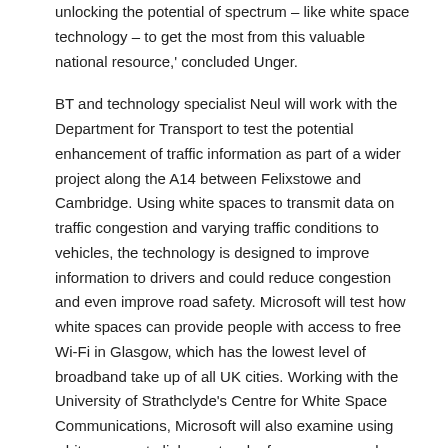unlocking the potential of spectrum – like white space technology – to get the most from this valuable national resource,' concluded Unger.
BT and technology specialist Neul will work with the Department for Transport to test the potential enhancement of traffic information as part of a wider project along the A14 between Felixstowe and Cambridge. Using white spaces to transmit data on traffic congestion and varying traffic conditions to vehicles, the technology is designed to improve information to drivers and could reduce congestion and even improve road safety. Microsoft will test how white spaces can provide people with access to free Wi-Fi in Glasgow, which has the lowest level of broadband take up of all UK cities. Working with the University of Strathclyde's Centre for White Space Communications, Microsoft will also examine using white spaces to link a network of sensors around Glasgow to create a smart city. Internet service provider, Click4internet, will use white spaces to test rural broadband in hard to reach places obscured by thick foliage or challenging topography. Unlike other forms of wireless